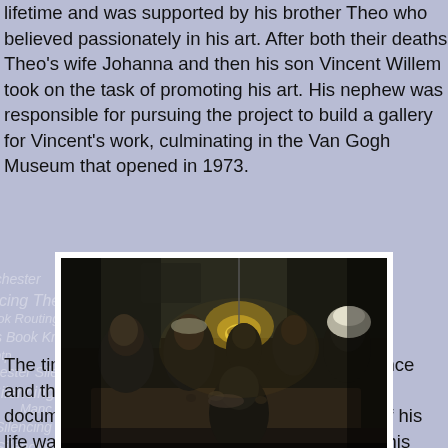lifetime and was supported by his brother Theo who believed passionately in his art. After both their deaths Theo's wife Johanna and then his son Vincent Willem took on the task of promoting his art. His nephew was responsible for pursuing the project to build a gallery for Vincent's work, culminating in the Van Gogh Museum that opened in 1973.
[Figure (photo): The Potato Eaters - a dark painting by Van Gogh showing a group of peasants gathered around a table eating potatoes by lamplight]
The Potato Eaters
The time he spent studying and painting in France and then the decline of his mental health are documented through his works. The last year of his life was an incredible prolific period. In spite of his decline it was art that he focussed on, continuing to paint while in hospital, often copying other